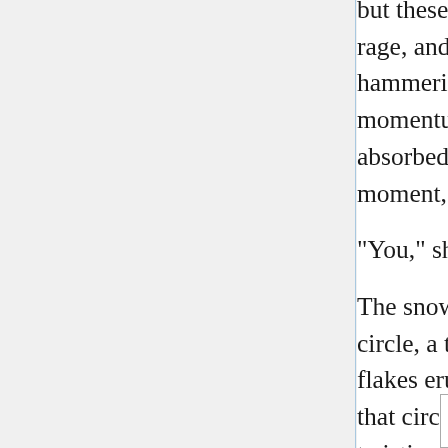but these THINGS are keeping them apart. Fear cracks into rage, and Sayaka's arm snaps up as if autonomously, hammering the Sweeper's bristle and stopping its momentum dead. As if all of that force was actually absorbed into her trembling arm, Sayaka stands for a furious moment, glaring hate at the youma.
"You," she seethes. "You're in my way."
The snow around Sayaka flattens in a perfect geometric circle, a twisting arcane imprint of notes punching it down, flakes erupting all along the edges. Sayaka is driven up from that circle directly into the Sweeper, transfiguring into a twisting, hacking ball of sharp edges and ravenous points.
[Figure (illustration): A rectangular box/frame partially visible at the bottom of the page, appearing to be an illustration or image placeholder.]